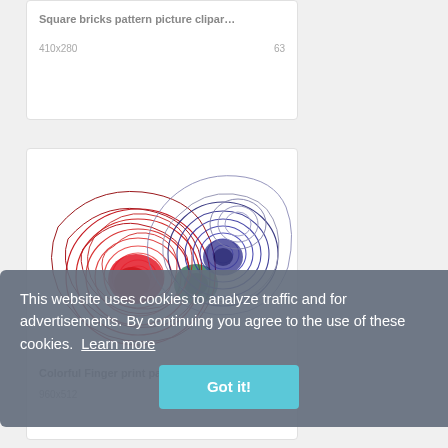Square bricks pattern picture clipar…
410x280   63
[Figure (illustration): Colorful fingerprint pattern image with red, green, and dark blue/navy swirling concentric line patterns forming fingerprint-like shapes on white background]
Colorful Finger print pattern png h…
960x512   58
This website uses cookies to analyze traffic and for advertisements. By continuing you agree to the use of these cookies. Learn more
Got it!